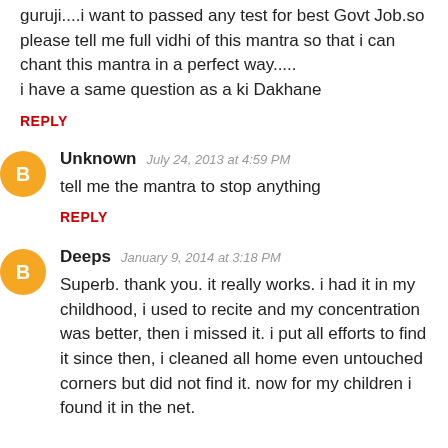guruji....i want to passed any test for best Govt Job.so please tell me full vidhi of this mantra so that i can chant this mantra in a perfect way.....
i have a same question as a ki Dakhane
REPLY
Unknown  July 24, 2013 at 4:59 PM
tell me the mantra to stop anything
REPLY
Deeps  January 9, 2014 at 3:18 PM
Superb. thank you. it really works. i had it in my childhood, i used to recite and my concentration was better, then i missed it. i put all efforts to find it since then, i cleaned all home even untouched corners but did not find it. now for my children i found it in the net.